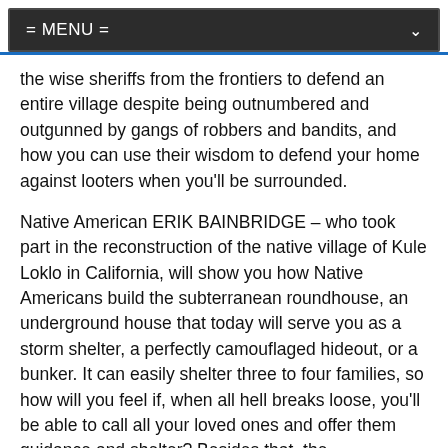= MENU =
the wise sheriffs from the frontiers to defend an entire village despite being outnumbered and outgunned by gangs of robbers and bandits, and how you can use their wisdom to defend your home against looters when you'll be surrounded.
Native American ERIK BAINBRIDGE – who took part in the reconstruction of the native village of Kule Loklo in California, will show you how Native Americans build the subterranean roundhouse, an underground house that today will serve you as a storm shelter, a perfectly camouflaged hideout, or a bunker. It can easily shelter three to four families, so how will you feel if, when all hell breaks loose, you'll be able to call all your loved ones and offer them guidance and shelter? Besides that, the subterranean roundhouse makes an awesome root cellar where you can keep all your food and water